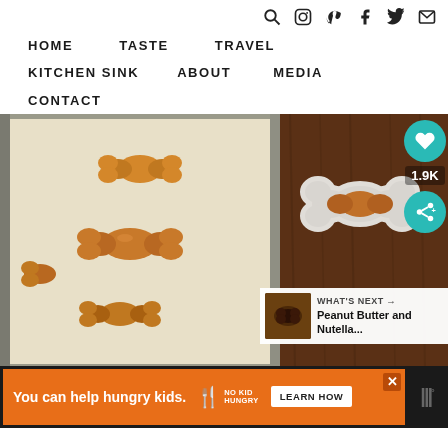Icons: search, instagram, pinterest, facebook, twitter, email
HOME
TASTE
TRAVEL
KITCHEN SINK
ABOUT
MEDIA
CONTACT
[Figure (photo): Dog bone shaped treats on a baking sheet (left), and a bone-shaped cookie cutter on a wooden surface (right). Social overlay with heart button, 1.9K count, and share button.]
WHAT'S NEXT → Peanut Butter and Nutella...
You can help hungry kids. NO KID HUNGRY LEARN HOW